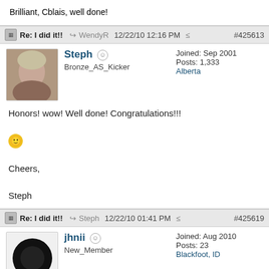Brilliant, Cblais, well done!
Re: I did it!! → WendyR 12/22/10 12:16 PM #425613
Steph Bronze_AS_Kicker Joined: Sep 2001 Posts: 1,333 Alberta
Honors! wow! Well done! Congratulations!!!
😊
Cheers,

Steph
Re: I did it!! → Steph 12/22/10 01:41 PM #425619
jhnii New_Member Joined: Aug 2010 Posts: 23 Blackfoot, ID